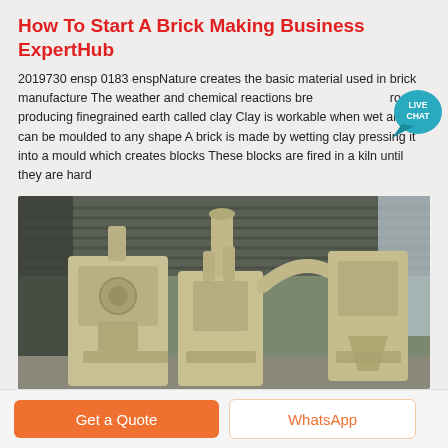How To Start A Brick Making Business ExpertHub
2019730 ensp 0183 enspNature creates the basic material used in brick manufacture The weather and chemical reactions break rocks producing finegrained earth called clay Clay is workable when wet and can be moulded to any shape A brick is made by wetting clay pressing it into a mould which creates blocks These blocks are fired in a kiln until they are hard
[Figure (photo): Industrial brick making machinery inside a large warehouse/factory, showing large pale yellow/cream colored processing machines with pipes and ducts, under a corrugated metal roof.]
Get a Quote
WhatsApp